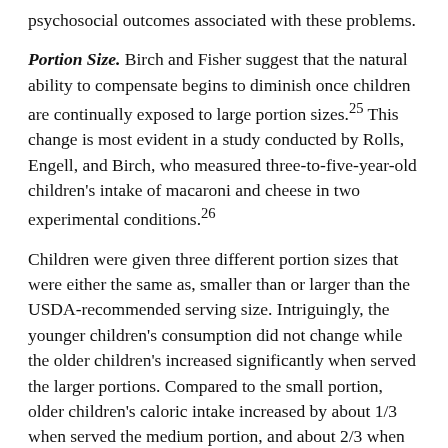psychosocial outcomes associated with these problems.
Portion Size. Birch and Fisher suggest that the natural ability to compensate begins to diminish once children are continually exposed to large portion sizes.25 This change is most evident in a study conducted by Rolls, Engell, and Birch, who measured three-to-five-year-old children's intake of macaroni and cheese in two experimental conditions.26
Children were given three different portion sizes that were either the same as, smaller than or larger than the USDA-recommended serving size. Intriguingly, the younger children's consumption did not change while the older children's increased significantly when served the larger portions. Compared to the small portion, older children's caloric intake increased by about 1/3 when served the medium portion, and about 2/3 when served the large portion. These findings suggest that while younger children (ages two and three) have the ability to regulate their energy intake based on their physiological needs, children approaching the ages of four and five may have a compromised ability to self-regulate, which may be due to learning or conditioning over time.